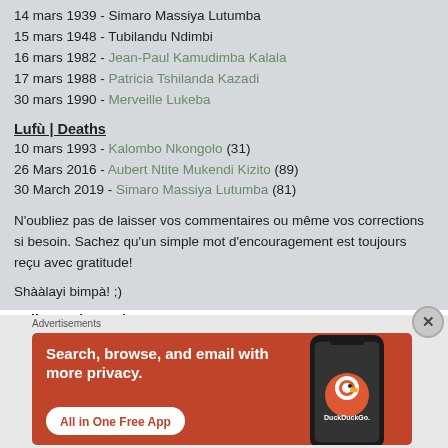14 mars 1939 - Simaro Massiya Lutumba
15 mars 1948 - Tubilandu Ndimbi
16 mars 1982 - Jean-Paul Kamudimba Kalala
17 mars 1988 - Patricia Tshilanda Kazadi
30 mars 1990 - Merveille Lukeba
Lufù | Deaths
10 mars 1993 - Kalombo Nkongolo (31)
26 Mars 2016 - Aubert Ntite Mukendi Kizito (89)
30 March 2019 - Simaro Massiya Lutumba (81)
N'oubliez pas de laisser vos commentaires ou même vos corrections si besoin. Sachez qu'un simple mot d'encouragement est toujours reçu avec gratitude!
Shààlayi bimpà! ;)
Follow Luba Nation
[Figure (logo): YouTube logo button (red circle with white play triangle)]
Advertisements
[Figure (screenshot): DuckDuckGo advertisement banner: Search, browse, and email with more privacy. All in One Free App. Shows a phone with DuckDuckGo app.]